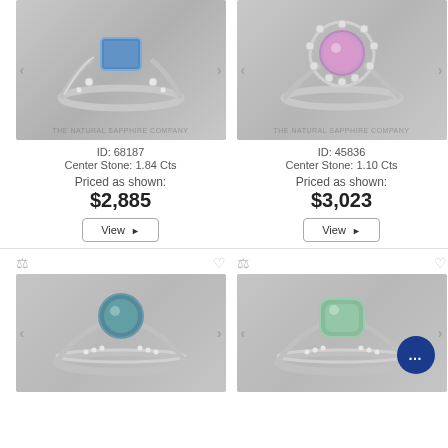[Figure (photo): Engagement ring with blue rectangular center stone and diamond side stones on a twisted band, THE NATURAL SAPPHIRE COMPANY watermark]
ID: 68187
Center Stone: 1.84 Cts
Priced as shown:
$2,885
View ▶
[Figure (photo): Engagement ring with pink round center stone surrounded by a halo of small diamonds, THE NATURAL SAPPHIRE COMPANY watermark]
ID: 45836
Center Stone: 1.10 Cts
Priced as shown:
$3,023
View ▶
[Figure (photo): Engagement ring with teal/blue-green round center stone and pavé diamond band]
[Figure (photo): Engagement ring with green cushion center stone and pavé diamond band, with chat bubble overlay]